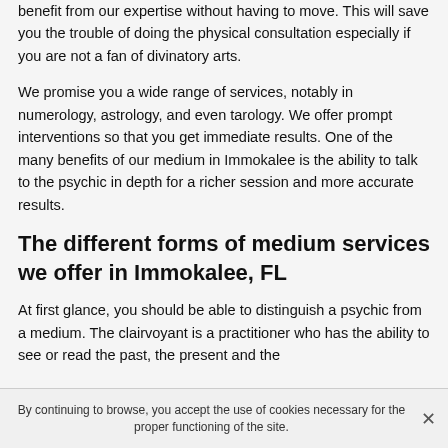benefit from our expertise without having to move. This will save you the trouble of doing the physical consultation especially if you are not a fan of divinatory arts.
We promise you a wide range of services, notably in numerology, astrology, and even tarology. We offer prompt interventions so that you get immediate results. One of the many benefits of our medium in Immokalee is the ability to talk to the psychic in depth for a richer session and more accurate results.
The different forms of medium services we offer in Immokalee, FL
At first glance, you should be able to distinguish a psychic from a medium. The clairvoyant is a practitioner who has the ability to see or read the past, the present and the
By continuing to browse, you accept the use of cookies necessary for the proper functioning of the site.